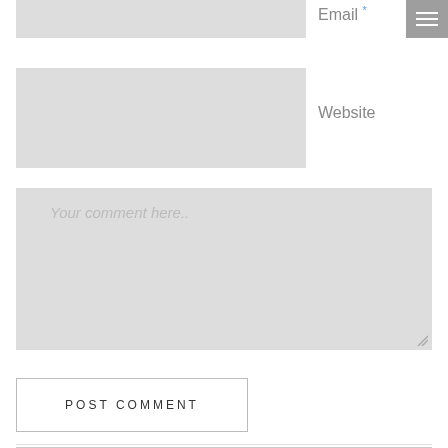Email *
[Figure (screenshot): Gray input field for email]
[Figure (screenshot): Hamburger menu icon (three white lines on gray background)]
Website
[Figure (screenshot): Gray input field for website URL]
[Figure (screenshot): Large gray textarea with placeholder text 'Your comment here..']
Your comment here..
POST COMMENT